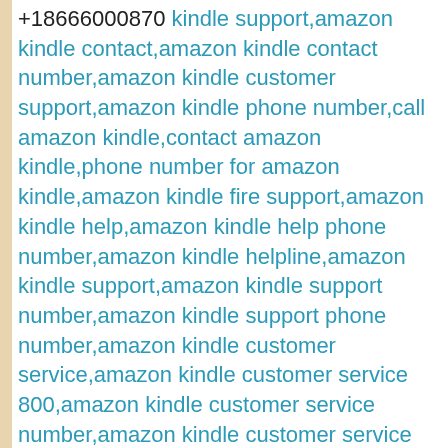+18666000870 kindle support,amazon kindle contact,amazon kindle contact number,amazon kindle customer support,amazon kindle phone number,call amazon kindle,contact amazon kindle,phone number for amazon kindle,amazon kindle fire support,amazon kindle help,amazon kindle help phone number,amazon kindle helpline,amazon kindle support,amazon kindle support number,amazon kindle support phone number,amazon kindle customer service,amazon kindle customer service 800,amazon kindle customer service number,amazon kindle customer service phone number,kindle customer service,kindle customer service phone number,kindle fire help,kindle fire help,kindle fire helpline,kindle fire support,kindle fire tech support,kindle fire hd help,kindle help,kindle help number,kindle help phone number,kindle